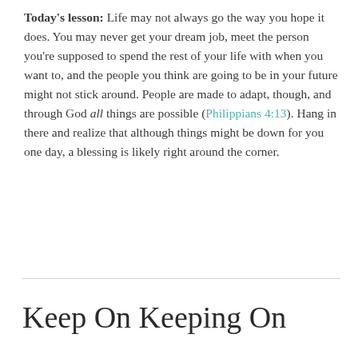Today's lesson: Life may not always go the way you hope it does. You may never get your dream job, meet the person you're supposed to spend the rest of your life with when you want to, and the people you think are going to be in your future might not stick around. People are made to adapt, though, and through God all things are possible (Philippians 4:13). Hang in there and realize that although things might be down for you one day, a blessing is likely right around the corner.
Keep On Keeping On